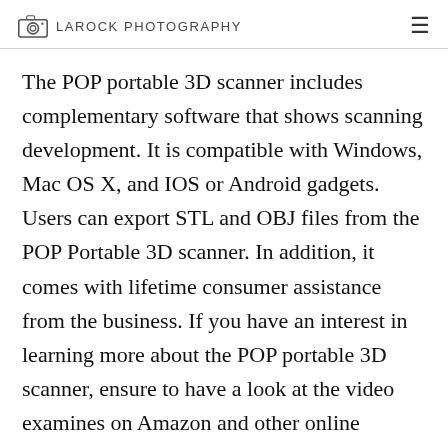LAROCK PHOTOGRAPHY
The POP portable 3D scanner includes complementary software that shows scanning development. It is compatible with Windows, Mac OS X, and IOS or Android gadgets. Users can export STL and OBJ files from the POP Portable 3D scanner. In addition, it comes with lifetime consumer assistance from the business. If you have an interest in learning more about the POP portable 3D scanner, ensure to have a look at the video examines on Amazon and other online resources.